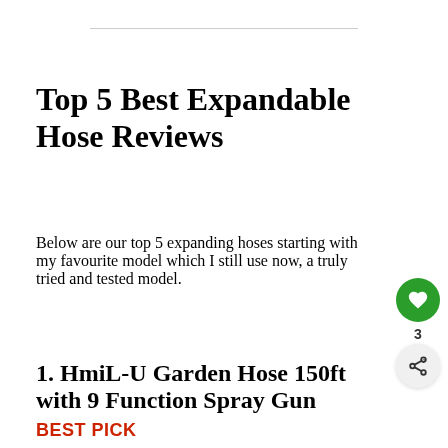Top 5 Best Expandable Hose Reviews
Below are our top 5 expanding hoses starting with my favourite model which I still use now, a truly tried and tested model.
1. HmiL-U Garden Hose 150ft with 9 Function Spray Gun
BEST PICK